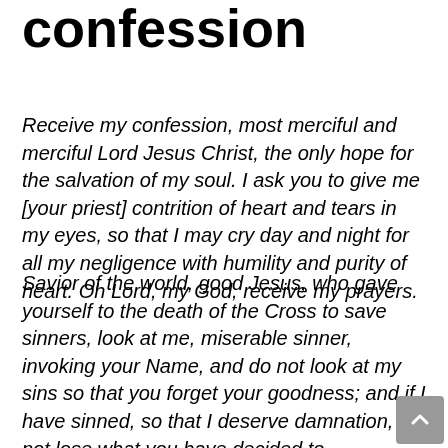confession
Receive my confession, most merciful and merciful Lord Jesus Christ, the only hope for the salvation of my soul. I ask you to give me [your priest] contrition of heart and tears in my eyes, so that I may cry day and night for all my negligence with humility and purity of heart. Oh Lord, my God, receive my prayers.
Savior of the world, good Jesus, who gave yourself to the death of the Cross to save sinners, look at me, miserable sinner, invoking your Name, and do not look at my sins so that you forget your goodness; and if I have sinned, so that I deserve damnation, do not lose what you have decided to